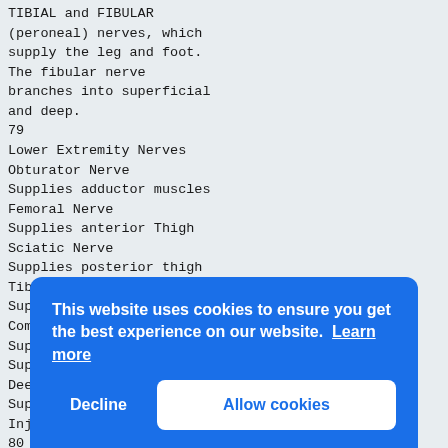TIBIAL and FIBULAR
(peroneal) nerves, which
supply the leg and foot.
The fibular nerve
branches into superficial
and deep.
79
Lower Extremity Nerves
Obturator Nerve
Supplies adductor muscles
Femoral Nerve
Supplies anterior Thigh
Sciatic Nerve
Supplies posterior thigh
Tibial Nerve
Supplies posterior leg and foot
Common Fibular Nerve
Superficial branch
Supplies lateral side of leg
Deep branch
Supplies anterior leg
Inju
80
Tibi
• So
the
head
and
• It
mani
wors
81
82
This website uses cookies to ensure you get the best experience on our website. Learn more